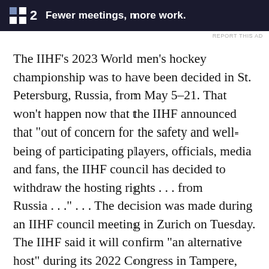[Figure (other): Advertisement banner with dark navy background showing two white squares icon, number 2, and text 'Fewer meetings, more work.']
REPORT THIS AD
The IIHF's 2023 World men's hockey championship was to have been decided in St. Petersburg, Russia, from May 5-21. That won't happen now that the IIHF announced that “out of concern for the safety and well-being of participating players, officials, media and fans, the IIHF council has decided to withdraw the hosting rights . . . from Russia . . .” . . . The decision was made during an IIHF council meeting in Zurich on Tuesday. The IIHF said it will confirm “an alternative host” during its 2022 Congress in Tampere, Finland, during the final week of the 2022 World men’s